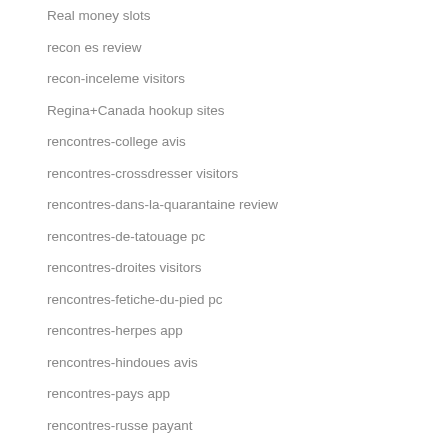Real money slots
recon es review
recon-inceleme visitors
Regina+Canada hookup sites
rencontres-college avis
rencontres-crossdresser visitors
rencontres-dans-la-quarantaine review
rencontres-de-tatouage pc
rencontres-droites visitors
rencontres-fetiche-du-pied pc
rencontres-herpes app
rencontres-hindoues avis
rencontres-pays app
rencontres-russe payant
rencontres-sans-gluten connexion